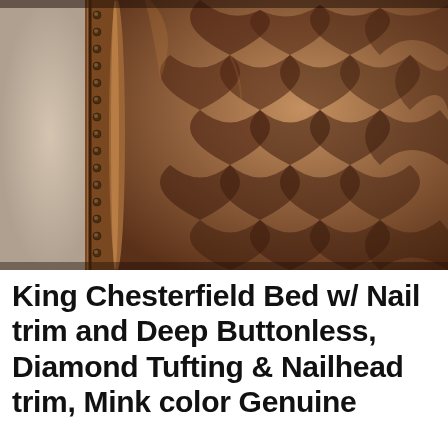[Figure (photo): Close-up photograph of a brown leather tufted headboard with diamond buttonless tufting pattern and nailhead trim along the left edge. The leather is a rich mink/cognac brown color showing deep diamond-shaped tufting impressions. A row of decorative nailhead studs runs vertically along a rolled leather trim border on the left side.]
King Chesterfield Bed w/ Nail trim and Deep Buttonless, Diamond Tufting & Nailhead trim, Mink color Genuine